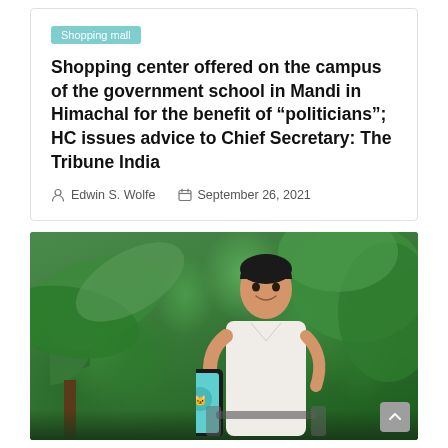Shopping mall
Shopping center offered on the campus of the government school in Mandi in Himachal for the benefit of “politicians”; HC issues advice to Chief Secretary: The Tribune India
Edwin S. Wolfe   September 26, 2021
[Figure (photo): A man sitting on a scooter/motorcycle outdoors surrounded by lush green tropical foliage, smiling and holding up a smartphone displaying a teal/green app screen with a logo.]